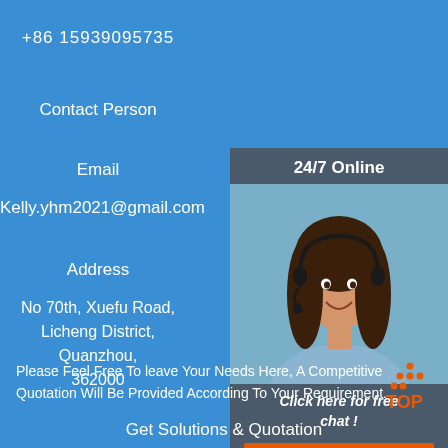+86 15939095735
Contact Person
Email
Kelly.yhm2021@gmail.com
Address
No 70th, Xuefu Road, Licheng District, Quanzhou, 362000
[Figure (photo): Customer service representative with headset smiling, with '24/7 Online' header, 'Click here for free chat!' text and orange QUOTATION button]
Please Feel Free To leave Your Needs Here, A Competitive Quotation Will Be Provided According To Your Requirement.
[Figure (logo): TOP logo with orange dots arranged in triangle and orange TOP text]
Get Solutions & Quotation